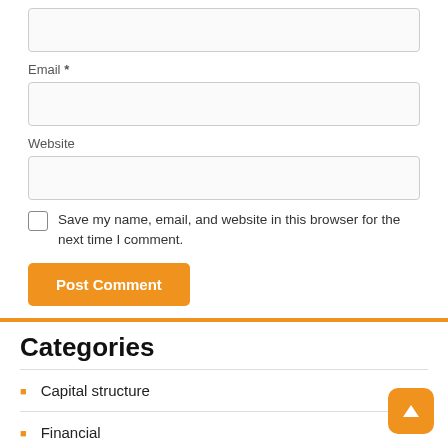Email *
Website
Save my name, email, and website in this browser for the next time I comment.
Post Comment
Categories
Capital structure
Financial
Limited flexibility exchange rate system
Phillips Curve